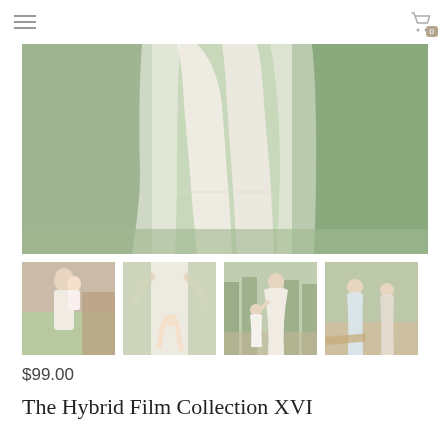Navigation menu and cart icon (0 items)
[Figure (photo): Close-up of a woman wearing a flowing white/cream tiered dress standing in a green grassy field, showing mid-section and skirt of the dress.]
[Figure (photo): Thumbnail 1: Woman in white dress holding a baby outdoors with a rustic barn background.]
[Figure (photo): Thumbnail 2: Close-up of woman in white dress holding a child's legs, child dangling.]
[Figure (photo): Thumbnail 3: Woman in white dress with a small child in white dress in an orchard/garden setting.]
[Figure (photo): Thumbnail 4: Partial view of two children outdoors in light clothing.]
$99.00
The Hybrid Film Collection XVI